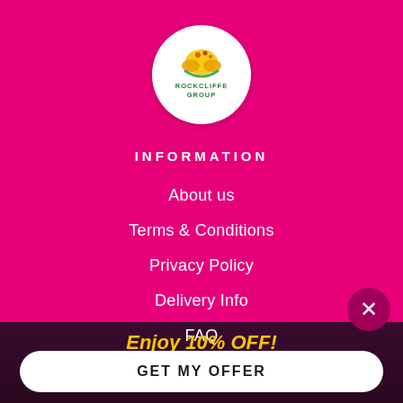[Figure (logo): Rockcliffe Group circular logo on white background with fruit/leaf graphic and green text]
INFORMATION
About us
Terms & Conditions
Privacy Policy
Delivery Info
FAQ
Enjoy 10% OFF!
GET MY OFFER